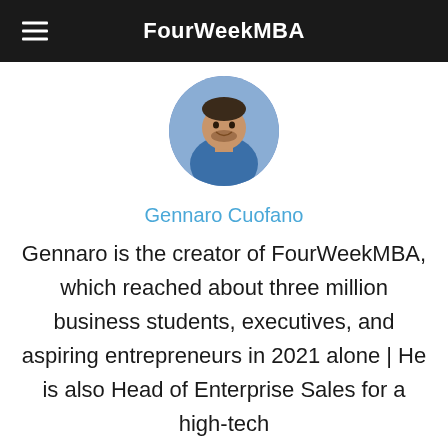FourWeekMBA
[Figure (photo): Circular profile photo of Gennaro Cuofano, a man wearing a blue shirt, smiling]
Gennaro Cuofano
Gennaro is the creator of FourWeekMBA, which reached about three million business students, executives, and aspiring entrepreneurs in 2021 alone | He is also Head of Enterprise Sales for a high-tech